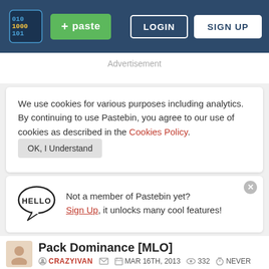[Figure (screenshot): Pastebin website header navigation bar with logo, green paste button, login and sign up buttons]
Advertisement
We use cookies for various purposes including analytics. By continuing to use Pastebin, you agree to our use of cookies as described in the Cookies Policy. OK, I Understand
Not a member of Pastebin yet? Sign Up, it unlocks many cool features!
Pack Dominance [MLO]
CRAZYIVAN   MAR 16TH, 2013   332   NEVER
Not a member of Pastebin yet? Sign Up, it unlocks many cool features!